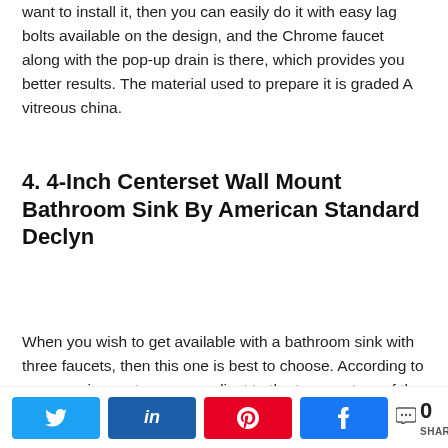want to install it, then you can easily do it with easy lag bolts available on the design, and the Chrome faucet along with the pop-up drain is there, which provides you better results. The material used to prepare it is graded A vitreous china.
4. 4-Inch Centerset Wall Mount Bathroom Sink By American Standard Declyn
When you wish to get available with a bathroom sink with three faucets, then this one is best to choose. According to your requirement, you can adjust to the temperature of the water. The sink available is 17[redacted]s